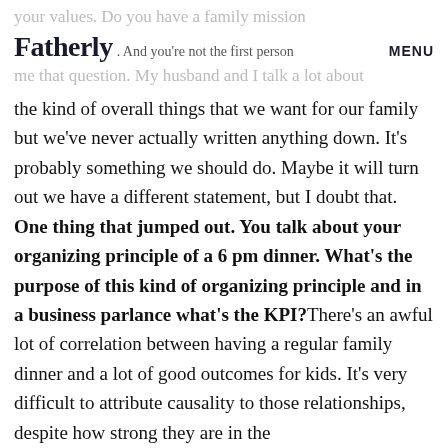Fatherly. And you're not the first person MENU
your values. Do you have a family mission
me that question. My husband and I talk a lot about the kind of overall things that we want for our family but we've never actually written anything down. It's probably something we should do. Maybe it will turn out we have a different statement, but I doubt that.
One thing that jumped out. You talk about your organizing principle of a 6 pm dinner. What's the purpose of this kind of organizing principle and in a business parlance what's the KPI? There's an awful lot of correlation between having a regular family dinner and a lot of good outcomes for kids. It's very difficult to attribute causality to those relationships, despite how strong they are in the